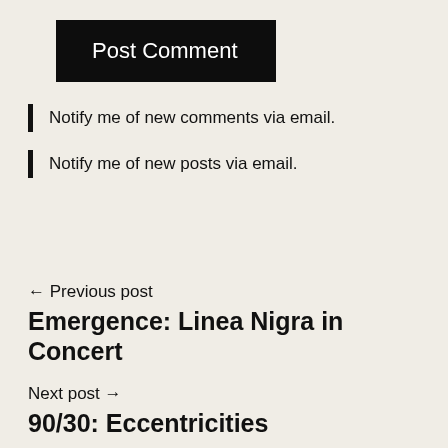Post Comment
Notify me of new comments via email.
Notify me of new posts via email.
← Previous post
Emergence: Linea Nigra in Concert
Next post →
90/30: Eccentricities